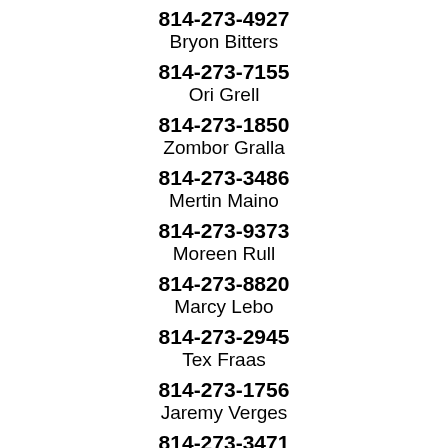814-273-4927
Bryon Bitters
814-273-7155
Ori Grell
814-273-1850
Zombor Gralla
814-273-3486
Mertin Maino
814-273-9373
Moreen Rull
814-273-8820
Marcy Lebo
814-273-2945
Tex Fraas
814-273-1756
Jaremy Verges
814-273-3471
Fearne Wanless